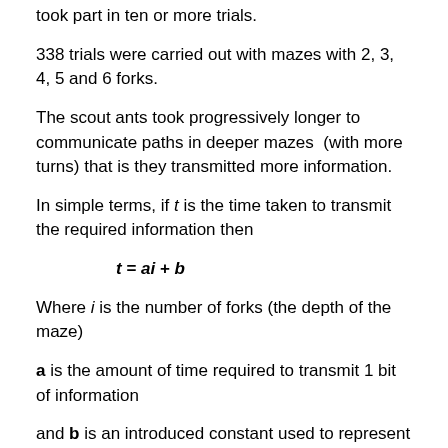took part in ten or more trials.
338 trials were carried out with mazes with 2, 3, 4, 5 and 6 forks.
The scout ants took progressively longer to communicate paths in deeper mazes  (with more turns) that is they transmitted more information.
In simple terms, if t is the time taken to transmit the required information then
Where i is the number of forks (the depth of the maze)
a is the amount of time required to transmit 1 bit of information
and b is an introduced constant used to represent extra